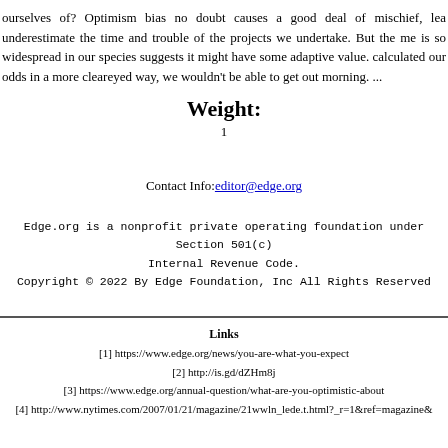ourselves of? Optimism bias no doubt causes a good deal of mischief, lea underestimate the time and trouble of the projects we undertake. But the me is so widespread in our species suggests it might have some adaptive value. calculated our odds in a more cleareyed way, we wouldn't be able to get out morning. ...
Weight:
1
Contact Info: editor@edge.org
Edge.org is a nonprofit private operating foundation under Section 501(c) Internal Revenue Code. Copyright © 2022 By Edge Foundation, Inc All Rights Reserved
Links
[1] https://www.edge.org/news/you-are-what-you-expect
[2] http://is.gd/dZHm8j
[3] https://www.edge.org/annual-question/what-are-you-optimistic-about
[4] http://www.nytimes.com/2007/01/21/magazine/21wwln_lede.t.html?_r=1&amp;ref=magazine&